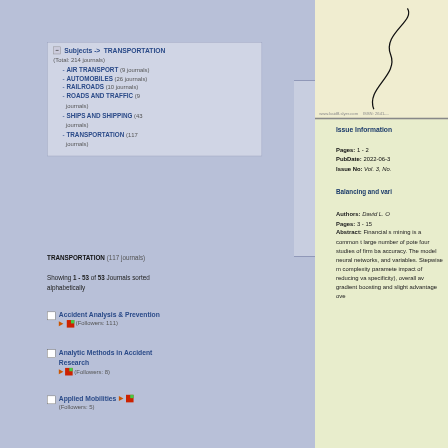Subjects -> TRANSPORTATION (Total: 214 journals)
- AIR TRANSPORT (9 journals)
- AUTOMOBILES (26 journals)
- RAILROADS (10 journals)
- ROADS AND TRAFFIC (9 journals)
- SHIPS AND SHIPPING (43 journals)
- TRANSPORTATION (117 journals)
TRANSPORTATION (117 journals)
Showing 1 - 53 of 53 Journals sorted alphabetically
Accident Analysis & Prevention (Followers: 111)
Analytic Methods in Accident Research (Followers: 8)
Applied Mobilities (Followers: 5)
Issue Information
Pages: 1 - 2
PubDate: 2022-06-3
Issue No: Vol. 3, No.
Balancing and vari
Authors: David L. O
Pages: 3 - 15
Abstract: Financial s mining is a common t large number of pote four studies of firm ba accuracy. The model neural networks, and variables. Stepwise m complexity paramete impact of reducing va specificity), overall av gradient boosting and slight advantage ove